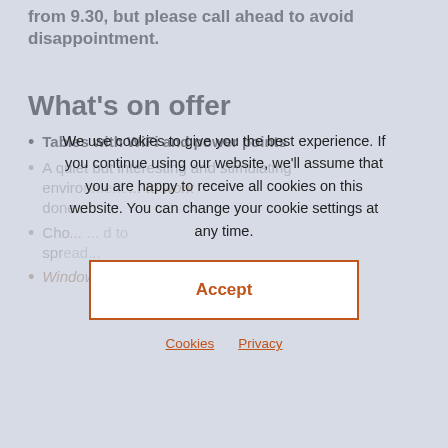from 9.30, but please call ahead to avoid disappointment.
What's on offer
Tables with WiFi and power points
A quiet but interesting and stimulating environment... work done
Cho... spread
Window desks with lots of natural light
We use cookies to give you the best experience. If you continue using our website, we'll assume that you are happy to receive all cookies on this website. You can change your cookie settings at any time.
Accept
Cookies   Privacy